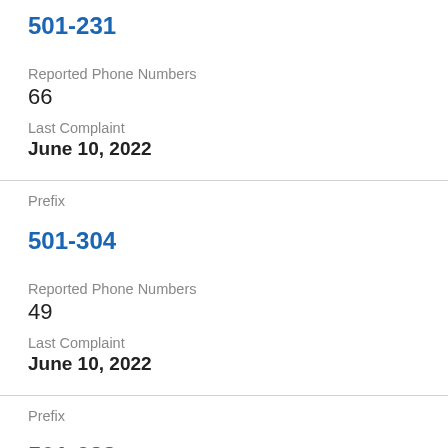501-231
Reported Phone Numbers
66
Last Complaint
June 10, 2022
Prefix
501-304
Reported Phone Numbers
49
Last Complaint
June 10, 2022
Prefix
501-683
Reported Phone Numbers